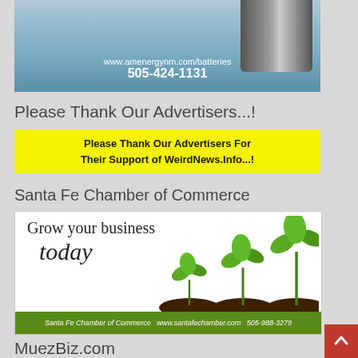[Figure (photo): Top portion of a battery/solar energy advertisement showing a battery cylinder and blue background with text: www.amenergynm.com/batteries and phone number 505-424-1131]
Please Thank Our Advertisers...!
[Figure (infographic): Yellow banner reading: Please Thank Our Advertisers For Their Support of WeirdNews.Info...!]
Santa Fe Chamber of Commerce
[Figure (photo): Santa Fe Chamber of Commerce advertisement showing growing plants with text: Grow your business today. Footer: Santa Fe Chamber of Commerce www.santafechamber.com 505-988-3279]
MuezBiz.com